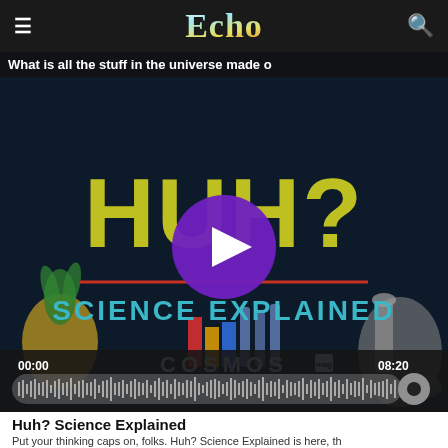Echo
What is all the stuff in the universe made o
[Figure (screenshot): Podcast cover art for 'Huh? Science Explained' by Cosmos Magazine. Dark navy background with large yellow-green text 'HUH?' and subtitle 'SCIENCE EXPLAINED' in teal, red horizontal divider line, Cosmos logo at bottom. Play button overlay (purple circle with white triangle). Audio player showing 00:00 to 08:20 with waveform progress bar.]
Huh? Science Explained
Put your thinking caps on, folks. Huh? Science Explained is here, th